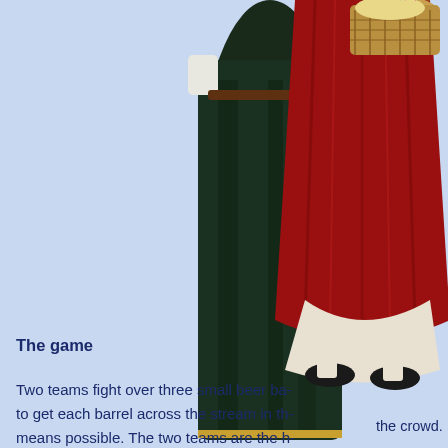[Figure (photo): Bottom half of a person wearing a dark green/black medieval robe costume with gold trim at the hem, white shirt visible at cuffs, brown belt, and black boots. The figure is standing on a light grey surface.]
[Figure (photo): Lower portion of a person wearing a bright red skirt/dress, carrying a large wicker basket filled with items including ribbons. The person is wearing black shoes and white socks/stockings.]
the crowd.
The procession fina- overlooking the villa- football game, playe- with the bottles (bar- ball.
The game
Two teams fight over three small beer ba- to get each barrel across the stream in th- means possible. The two teams are the h-